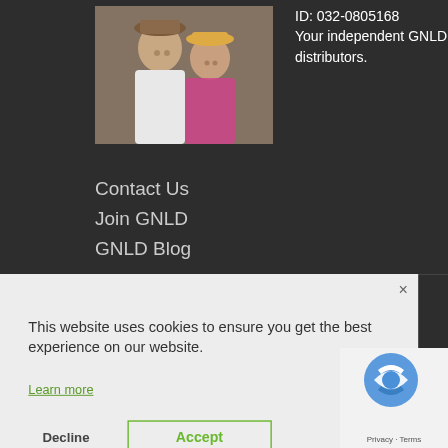ID: 032-0805168
Your independent GNLD distributors.
[Figure (photo): Photo of a man and woman (couple) posing together outdoors]
Contact Us
Join GNLD
GNLD Blog
This website uses cookies to ensure you get the best experience on our website.

Learn more
Decline
Accept